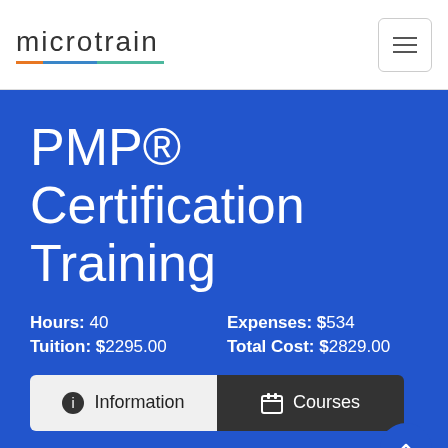microtrain
PMP® Certification Training
Hours: 40   Expenses: $534
Tuition: $2295.00   Total Cost: $2829.00
Information   Courses
If you enjoy the prestige that comes from being the best in your field, then you will appreciate the